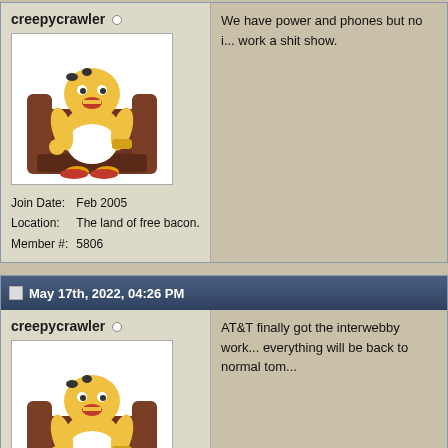creepycrawler
[Figure (illustration): Homer Simpson sitting in a brown armchair, cartoon avatar]
Join Date: Feb 2005
Location: The land of free bacon.
Member #: 5806
We have power and phones but no i... work a shit show.
May 17th, 2022, 04:26 PM
creepycrawler
[Figure (illustration): Homer Simpson sitting in a brown armchair, cartoon avatar]
Join Date: Feb 2005
Location: The land of free
AT&T finally got the interwebby work... everything will be back to normal tom...